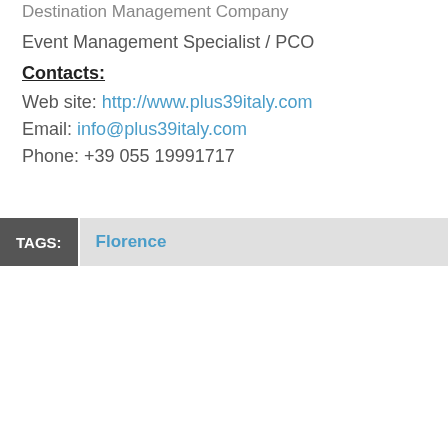Destination Management Company
Event Management Specialist / PCO
Contacts:
Web site: http://www.plus39italy.com
Email: info@plus39italy.com
Phone: +39 055 19991717
TAGS: Florence